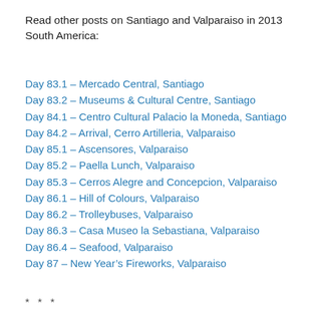Read other posts on Santiago and Valparaiso in 2013 South America:
Day 83.1 – Mercado Central, Santiago
Day 83.2 – Museums & Cultural Centre, Santiago
Day 84.1 – Centro Cultural Palacio la Moneda, Santiago
Day 84.2 – Arrival, Cerro Artilleria, Valparaiso
Day 85.1 – Ascensores, Valparaiso
Day 85.2 – Paella Lunch, Valparaiso
Day 85.3 – Cerros Alegre and Concepcion, Valparaiso
Day 86.1 – Hill of Colours, Valparaiso
Day 86.2 – Trolleybuses, Valparaiso
Day 86.3 – Casa Museo la Sebastiana, Valparaiso
Day 86.4 – Seafood, Valparaiso
Day 87 – New Year's Fireworks, Valparaiso
* * *